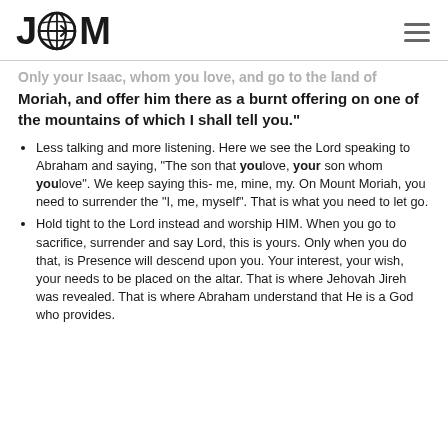JGM
Only your Isaac, whom you love, and go to the land of Moriah, and offer him there as a burnt offering on one of the mountains of which I shall tell you."
Less talking and more listening. Here we see the Lord speaking to Abraham and saying, “The son that youlove, your son whom youlove”. We keep saying this- me, mine, my. On Mount Moriah, you need to surrender the “I, me, myself”. That is what you need to let go.
Hold tight to the Lord instead and worship HIM. When you go to sacrifice, surrender and say Lord, this is yours. Only when you do that, is Presence will descend upon you. Your interest, your wish, your needs to be placed on the altar. That is where Jehovah Jireh was revealed. That is where Abraham understand that He is a God who provides.